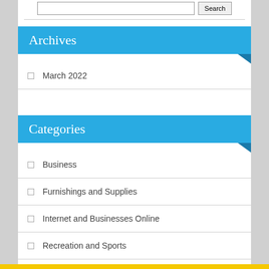Archives
March 2022
Categories
Business
Furnishings and Supplies
Internet and Businesses Online
Recreation and Sports
Running
Social Bookmarking